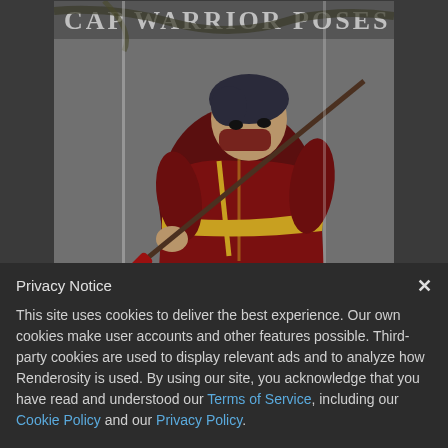[Figure (illustration): Digital 3D rendering of a warrior character in a dark red and gold costume, holding a weapon, with text 'CAP WARRIOR POSES' partially visible at top. Dark gray background with stone texture.]
Privacy Notice
This site uses cookies to deliver the best experience. Our own cookies make user accounts and other features possible. Third-party cookies are used to display relevant ads and to analyze how Renderosity is used. By using our site, you acknowledge that you have read and understood our Terms of Service, including our Cookie Policy and our Privacy Policy.